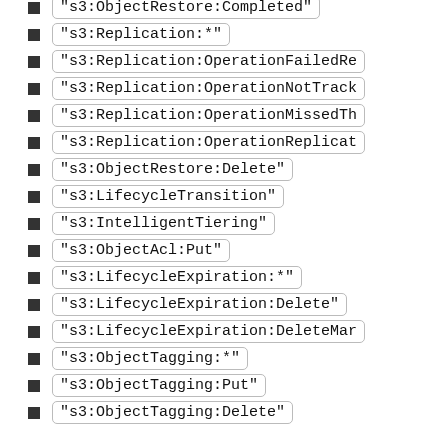"s3:ObjectRestore:Completed"
"s3:Replication:*"
"s3:Replication:OperationFailedRe..."
"s3:Replication:OperationNotTrack..."
"s3:Replication:OperationMissedTh..."
"s3:Replication:OperationReplicat..."
"s3:ObjectRestore:Delete"
"s3:LifecycleTransition"
"s3:IntelligentTiering"
"s3:ObjectAcl:Put"
"s3:LifecycleExpiration:*"
"s3:LifecycleExpiration:Delete"
"s3:LifecycleExpiration:DeleteMar..."
"s3:ObjectTagging:*"
"s3:ObjectTagging:Put"
"s3:ObjectTagging:Delete"